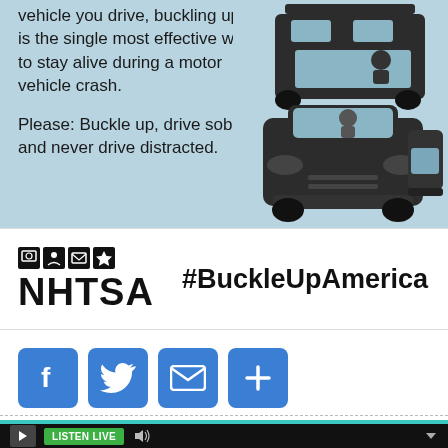vehicle you drive, buckling up is the single most effective way to stay alive during a motor vehicle crash.

Please: Buckle up, drive sober, and never drive distracted.
[Figure (illustration): Illustration of vehicles on a road: a large dark truck at the top and a dark car in the front, with driver figures visible through windows, on a light blue background.]
[Figure (logo): NHTSA logo with small government icons above the wordmark NHTSA in bold black text.]
#BuckleUpAmerica
[Figure (infographic): Social sharing buttons: Facebook (f), Twitter (bird), Email (envelope), and More (+), all in blue rounded-square buttons.]
[Figure (screenshot): Audio player bar at the bottom: black background with play button, green LISTEN LIVE button, volume icon, and dropdown arrow.]